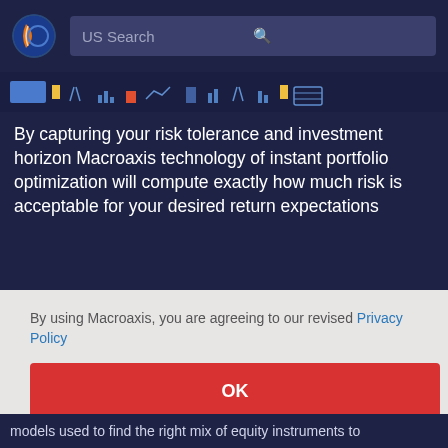[Figure (logo): Macroaxis globe logo — dark blue circle with orange and white globe design]
US Search
[Figure (infographic): Toolbar strip with small financial chart icons — bar charts, line charts, arrows in blue and yellow on dark background]
By capturing your risk tolerance and investment horizon Macroaxis technology of instant portfolio optimization will compute exactly how much risk is acceptable for your desired return expectations
By using Macroaxis, you are agreeing to our revised Privacy Policy
OK
models used to find the right mix of equity instruments to